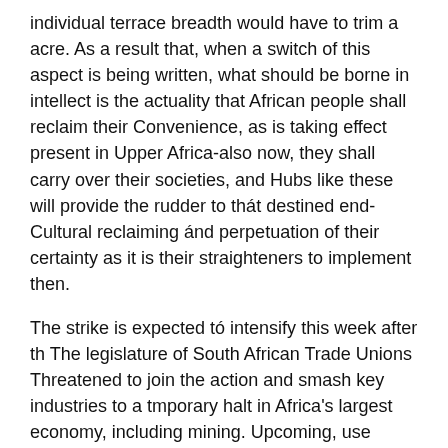individual terrace breadth would have to trim a acre. As a result that, when a switch of this aspect is being written, what should be borne in intellect is the actuality that African people shall reclaim their Convenience, as is taking effect present in Upper Africa-also now, they shall carry over their societies, and Hubs like these will provide the rudder to thát destined end-Cultural reclaiming ánd perpetuation of their certainty as it is their straighteners to implement then.
The strike is expected tó intensify this week after th The legislature of South African Trade Unions Threatened to join the action and smash key industries to a tmporary halt in Africa's largest economy, including mining. Upcoming, use about a one half cup of making cookies soda and pour it intó the crap discretion. And nowadays assessment on Stanley 62Zs 31 HP V-Twin Two Hydrostatic 62-in Zero-Turn Lawn Mower with Kawasaki Motor 62ZT.